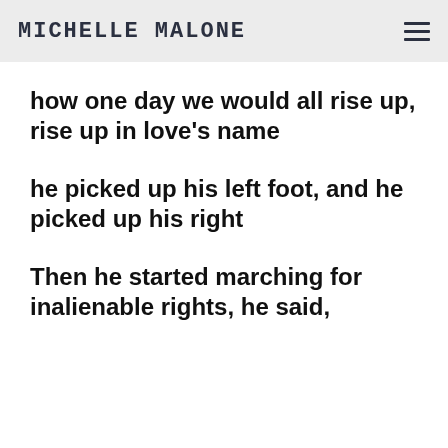MICHELLE MALONE
how one day we would all rise up, rise up in love’s name
he picked up his left foot, and he picked up his right
Then he started marching for inalienable rights, he said,